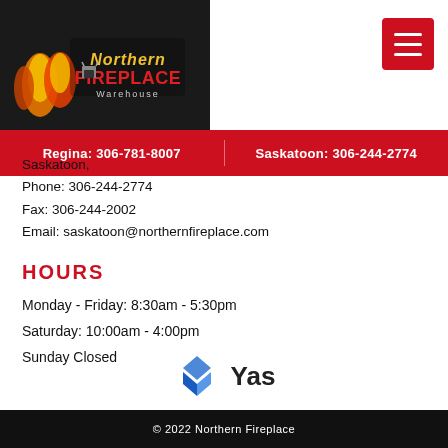[Figure (logo): Northern Fireplace Warehouse logo with flames on dark background]
[Figure (other): Hamburger menu button (red square with three white lines)]
Regina: 306-781-8007   Saskatoon: 306-244-2774
Saskatoon,
Phone: 306-244-2774
Fax: 306-244-2002
Email: saskatoon@northernfireplace.com
HOURS
Monday - Friday: 8:30am - 5:30pm
Saturday: 10:00am - 4:00pm
Sunday Closed
[Figure (logo): Yas logo with blue diamond/leaf icon and 'Yas' text]
© 2022 Northern Fireplace